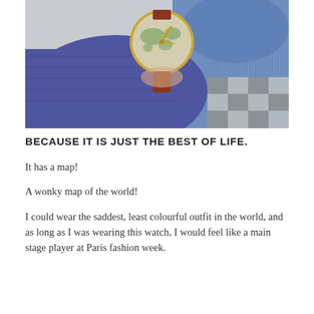[Figure (photo): A close-up photo of a wrist watch with a world map face, worn on a wrist dressed in a purple/blue knit sweater sleeve, with blue jeans visible in the background.]
BECAUSE IT IS JUST THE BEST OF LIFE.
It has a map!
A wonky map of the world!
I could wear the saddest, least colourful outfit in the world, and as long as I was wearing this watch, I would feel like a main stage player at Paris fashion week.